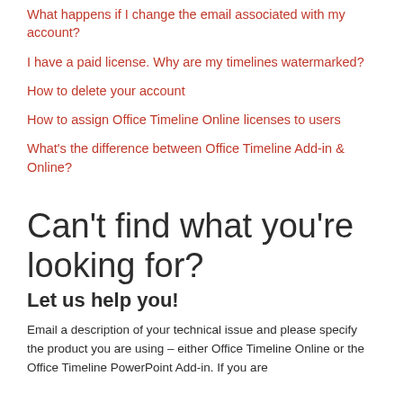What happens if I change the email associated with my account?
I have a paid license. Why are my timelines watermarked?
How to delete your account
How to assign Office Timeline Online licenses to users
What's the difference between Office Timeline Add-in & Online?
Can't find what you're looking for?
Let us help you!
Email a description of your technical issue and please specify the product you are using – either Office Timeline Online or the Office Timeline PowerPoint Add-in. If you are using the PowerPoint Add-in, please also let us know what